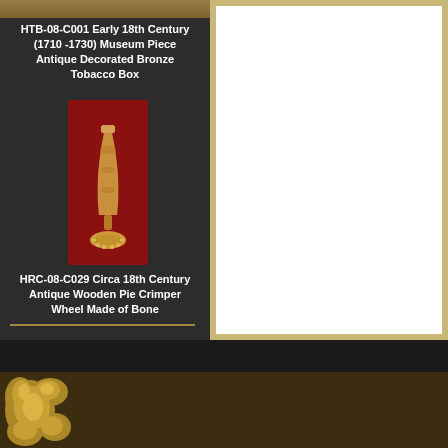HTB-08-C001 Early 18th Century (1710 -1730) Museum Piece Antique Decorated Bronze Tobacco Box
[Figure (photo): Antique wooden pie crimper with bone wheel on red background]
HRC-08-C029 Circa 18th Century Antique Wooden Pie Crimper Wheel Made of Bone
Email: oldworldheirlooms@gmail.com